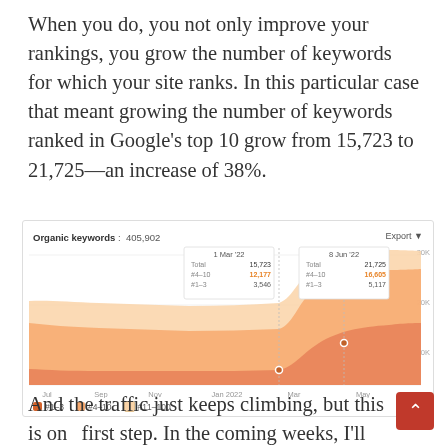When you do, you not only improve your rankings, you grow the number of keywords for which your site ranks. In this particular case that meant growing the number of keywords ranked in Google’s top 10 grow from 15,723 to 21,725—an increase of 38%.
[Figure (area-chart): Organic keywords: 405,902]
And the traffic just keeps climbing, but this is one first step. In the coming weeks, I’ll be posting updates